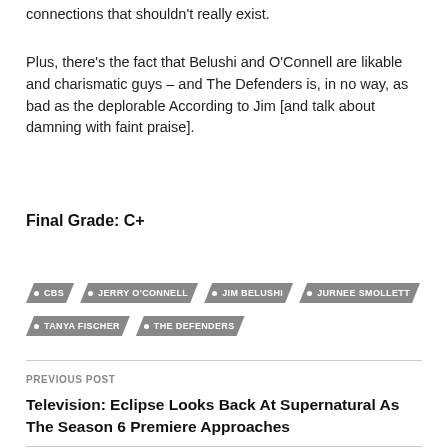connections that shouldn't really exist.
Plus, there's the fact that Belushi and O'Connell are likable and charismatic guys – and The Defenders is, in no way, as bad as the deplorable According to Jim [and talk about damning with faint praise].
Final Grade: C+
CBS
JERRY O'CONNELL
JIM BELUSHI
JURNEE SMOLLETT
TANYA FISCHER
THE DEFENDERS
PREVIOUS POST
Television: Eclipse Looks Back At Supernatural As The Season 6 Premiere Approaches